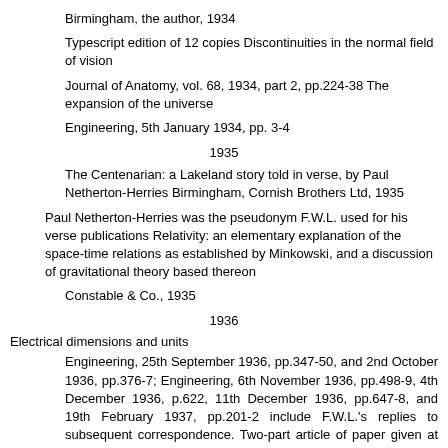Birmingham, the author, 1934
Typescript edition of 12 copies Discontinuities in the normal field of vision
Journal of Anatomy, vol. 68, 1934, part 2, pp.224-38 The expansion of the universe
Engineering, 5th January 1934, pp. 3-4
1935
The Centenarian: a Lakeland story told in verse, by Paul Netherton-Herries Birmingham, Cornish Brothers Ltd, 1935
Paul Netherton-Herries was the pseudonym F.W.L. used for his verse publications Relativity: an elementary explanation of the space-time relations as established by Minkowski, and a discussion of gravitational theory based thereon
Constable & Co., 1935
1936
Electrical dimensions and units
Engineering, 25th September 1936, pp.347-50, and 2nd October 1936, pp.376-7; Engineering, 6th November 1936, pp.498-9, 4th December 1936, p.622, 11th December 1936, pp.647-8, and 19th February 1937, pp.201-2 include F.W.L.'s replies to subsequent correspondence. Two-part article of paper given at British Association meeting 14th September 1936. A reprint contains all above, plus an appendix of matters